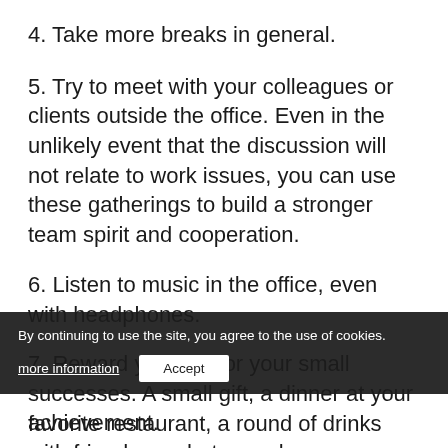4. Take more breaks in general.
5. Try to meet with your colleagues or clients outside the office. Even in the unlikely event that the discussion will not relate to work issues, you can use these gatherings to build a stronger team spirit and cooperation.
6. Listen to music in the office, even with headphones.
7. Reward yourself for your small successes. A small gift, a dinner at your favorite restaurant, a round of drinks with friends or whatever pleases you enough to let you 'relax' and celebrate your next achievement.